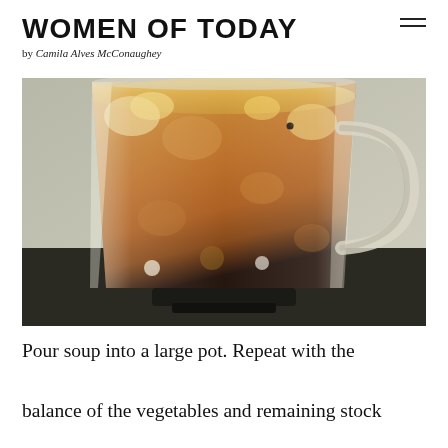WOMEN OF TODAY
by Camila Alves McConaughey
[Figure (photo): A glass blender filled with orange-colored vegetable soup and chunky vegetables, photographed from the front against a light background.]
Pour soup into a large pot. Repeat with the balance of the vegetables and remaining stock